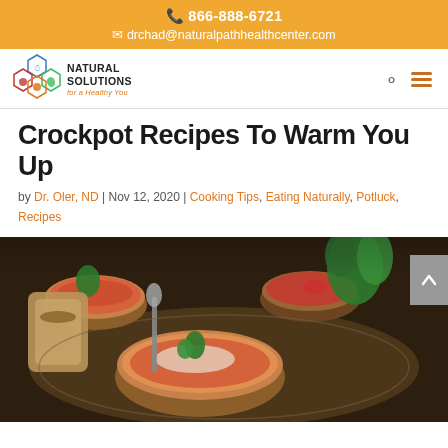866-888-6721
drchad@naturalpathhealthcenter.com
[Figure (logo): Natural Solutions for a Healthy You logo with hexagon icons]
Crockpot Recipes To Warm You Up
by Dr. Oler, ND | Nov 12, 2020 | Cooking Tips, Eating Naturally, Potluck, Recipes
[Figure (photo): Overhead photo of multiple bowls of crockpot food on a decorative tray with herbs, served in terracotta and ceramic bowls]